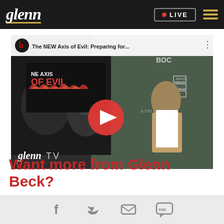glenn | LIVE
[Figure (screenshot): YouTube video thumbnail for 'The NEW Axis of Evil: Preparing for...' on Glenn TV, showing political figures and a man presenting at a chalkboard, with a red YouTube play button overlay]
Want more from Glenn Beck?
Facebook | Twitter | Email | SMS social icons